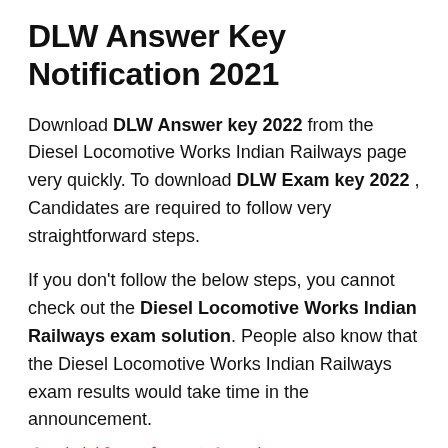DLW Answer Key Notification 2021
Download DLW Answer key 2022 from the Diesel Locomotive Works Indian Railways page very quickly. To download DLW Exam key 2022 , Candidates are required to follow very straightforward steps.
If you don’t follow the below steps, you cannot check out the Diesel Locomotive Works Indian Railways exam solution. People also know that the Diesel Locomotive Works Indian Railways exam results would take time in the announcement.
डीजल लोकोमोटिव वर्क्स उत्तर कुंजी पत्र.के 2022